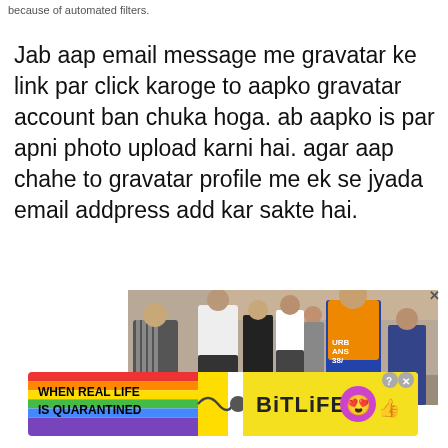because of automated filters.
Jab aap email message me gravatar ke link par click karoge to aapko gravatar account ban chuka hoga. ab aapko is par apni photo upload karni hai. agar aap chahe to gravatar profile me ek se jyada email addpress add kar sakte hai.
[Figure (photo): Advertisement banner showing a crowd of people outdoors with an X close button]
[Figure (infographic): BitLife advertisement banner with rainbow stripes on left side showing 'WHEN REAL LIFE IS QUARANTINED' text and BitLife logo with emoji on yellow background]